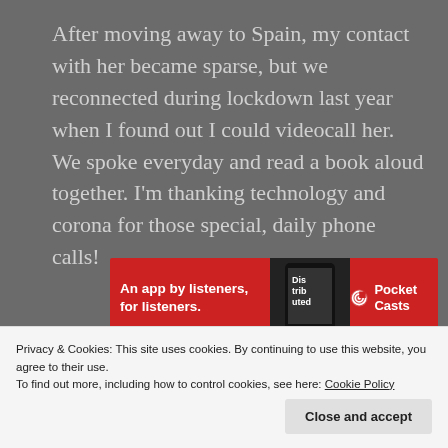After moving away to Spain, my contact with her became sparse, but we reconnected during lockdown last year when I found out I could videocall her. We spoke everyday and read a book aloud together. I'm thanking technology and corona for those special, daily phone calls!
[Figure (other): Pocket Casts advertisement banner: red background with text 'An app by listeners, for listeners.' and Pocket Casts logo on the right, with a phone image in the center.]
REPORT THIS AD
At the end of one of my last conversations with her...
Privacy & Cookies: This site uses cookies. By continuing to use this website, you agree to their use.
To find out more, including how to control cookies, see here: Cookie Policy